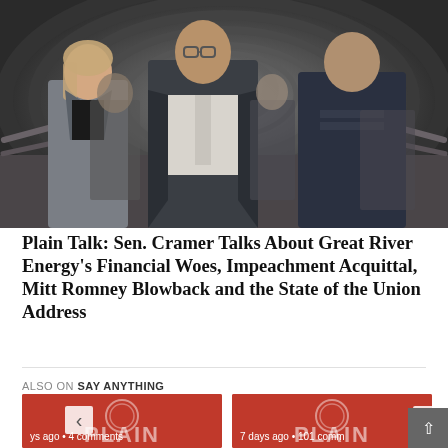[Figure (photo): Group of people including a woman in a grey blazer and several men walking through a curved tunnel-like corridor. One man in center wears a white shirt and glasses; another on right wears a dark uniform-style jacket.]
Plain Talk: Sen. Cramer Talks About Great River Energy's Financial Woes, Impeachment Acquittal, Mitt Romney Blowback and the State of the Union Address
ALSO ON SAY ANYTHING
[Figure (photo): Red thumbnail image with PLAIN text/logo. Caption: ys ago • 4 comments]
[Figure (photo): Red thumbnail image with PLAIN text/logo. Caption: 7 days ago • 101 comm]